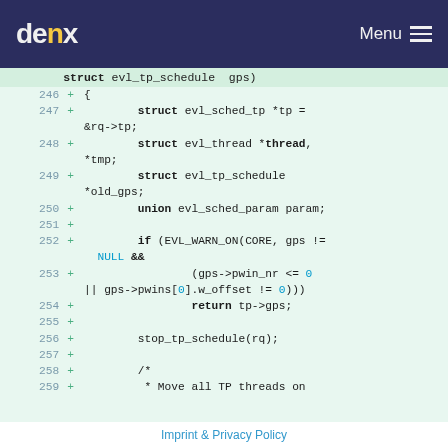denx  Menu
Code diff showing lines 246-259 of a C source file with struct evl_tp_schedule, evl_sched_tp, evl_thread, evl_tp_schedule, union evl_sched_param, if (EVL_WARN_ON), NULL, return, stop_tp_schedule, and comment start
Imprint & Privacy Policy